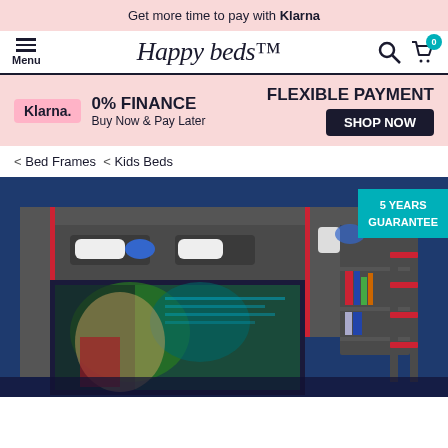Get more time to pay with Klarna
[Figure (logo): Happy Beds logo with hamburger menu, search icon, and cart icon showing 0 items]
[Figure (infographic): Klarna 0% FINANCE Buy Now & Pay Later banner with FLEXIBLE PAYMENT SHOP NOW button]
< Bed Frames  <  Kids Beds
[Figure (photo): A dark grey kids bunk bed with red trim accents, integrated shelving units on the right side, a ladder, and a large screen/monitor underneath. Background is dark blue. A '5 YEARS GUARANTEE' badge is shown in teal in the top right corner.]